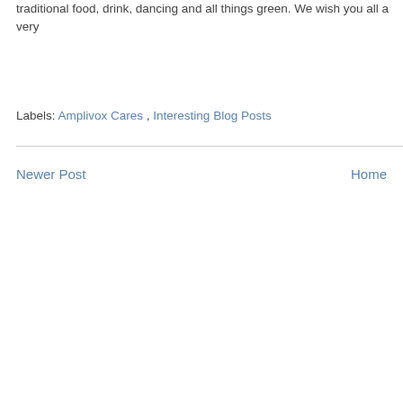traditional food, drink, dancing and all things green. We wish you all a very
Labels: Amplivox Cares , Interesting Blog Posts
Newer Post        Home